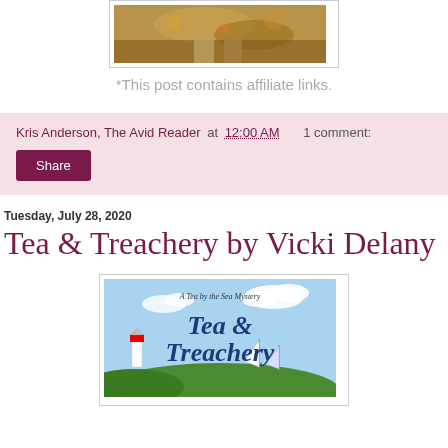[Figure (photo): Top portion of a photo showing autumn leaves and a person's feet/legs, cropped at the top of the page.]
*This post contains affiliate links.
Kris Anderson, The Avid Reader at 12:00 AM    1 comment:
Share
Tuesday, July 28, 2020
Tea & Treachery by Vicki Delany
[Figure (illustration): Book cover for 'Tea & Treachery' by Vicki Delany. Subtitle 'A Tea by the Sea Mystery'. Shows a coastal scene with a lighthouse, sailboats, and blue sky with clouds. Title text is in large navy/blue script font.]